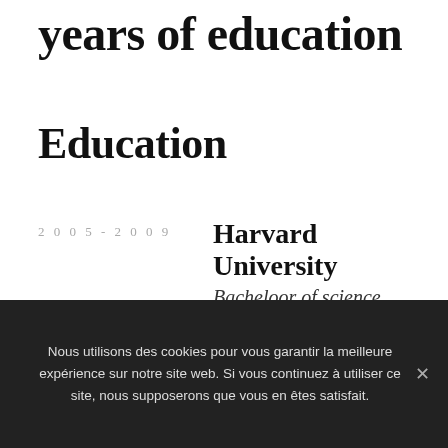years of education
Education
2005-2009 Harvard University Bacheloor of science
2009-2012 International School Ignite Visibility
Nous utilisons des cookies pour vous garantir la meilleure expérience sur notre site web. Si vous continuez à utiliser ce site, nous supposerons que vous en êtes satisfait.